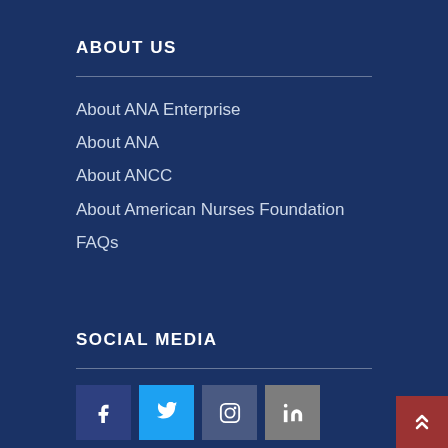ABOUT US
About ANA Enterprise
About ANA
About ANCC
About American Nurses Foundation
FAQs
SOCIAL MEDIA
[Figure (other): Social media icons: Facebook, Twitter, Instagram, LinkedIn]